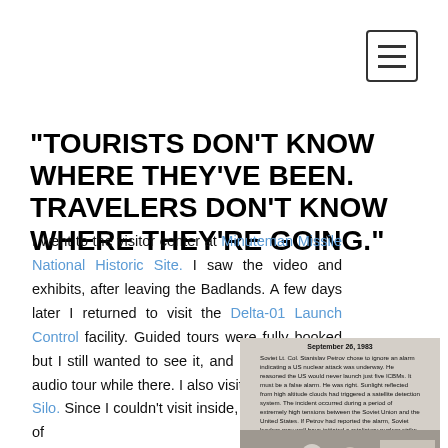[Figure (screenshot): Hamburger menu icon button in top right corner]
"TOURISTS DON'T KNOW WHERE THEY'VE BEEN. TRAVELERS DON'T KNOW WHERE THEY'RE GOING."
I went to the visitor center at Minuteman Missile National Historic Site. I saw the video and exhibits, after leaving the Badlands. A few days later I returned to visit the Delta-01 Launch Control facility. Guided tours were fully booked but I still wanted to see it, and I listened to the audio tour while there. I also visited the Delta-09 Silo. Since I couldn't visit inside, the virtual tours of
[Figure (photo): Exhibit panel dated September 26, 1983 about Soviet Lt. Col. Stanislav Petrov, with two people standing in front of a building below it]